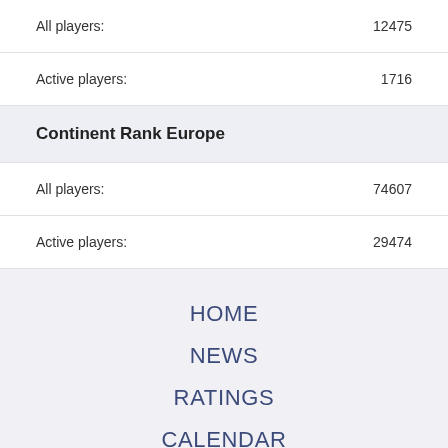All players: 12475
Active players: 1716
Continent Rank Europe
All players: 74607
Active players: 29474
HOME
NEWS
RATINGS
CALENDAR
FIDE